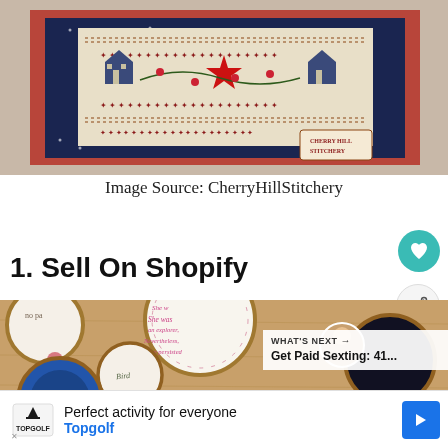[Figure (photo): Cross-stitch embroidery sampler with Americana theme — houses, red star, floral borders on linen, framed with navy blue dotted fabric and red/white gingham fabric. Cherry Hill Stitchery tag visible.]
Image Source: CherryHillStitchery
1. Sell On Shopify
[Figure (photo): Multiple embroidery hoops laid out on wooden surface, each containing cross-stitch or embroidery work with floral and text designs including 'she was an explorer, Nevertheless, she persisted' and other motifs.]
WHAT'S NEXT → Get Paid Sexting: 41...
Perfect activity for everyone  Topgolf